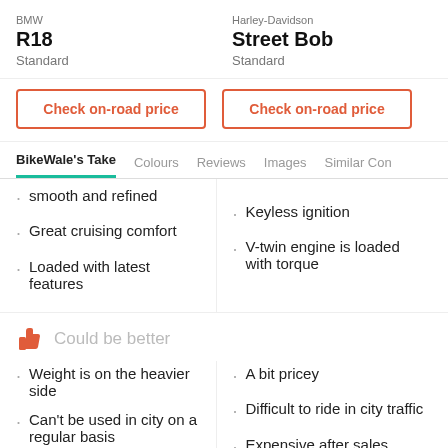BMW
R18
Standard
Harley-Davidson
Street Bob
Standard
Check on-road price
Check on-road price
BikeWale's Take
Colours
Reviews
Images
Similar Con
smooth and refined
Keyless ignition
Great cruising comfort
V-twin engine is loaded with torque
Loaded with latest features
Could be better
Weight is on the heavier side
A bit pricey
Can't be used in city on a regular basis
Difficult to ride in city traffic
Expensive after sales service
Expensive to maintain
Colors